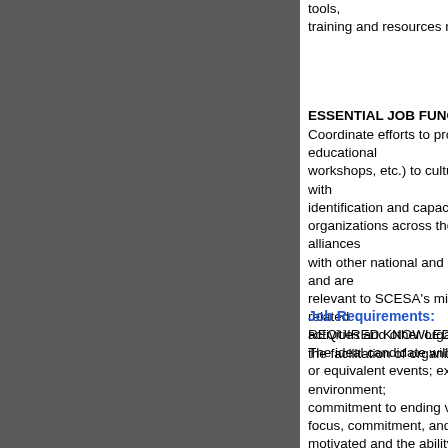tools,
training and resources needed to support survivors of s
ESSENTIAL JOB FUNCTIONS/RESPONSIBILITIES:
Coordinate efforts to provide support and training (via w educational
workshops, etc.) to culturally specific organizations add with
identification and capacity building efforts directed towa organizations across the country; assist in building colla alliances
with other national and international organizations that a and are
relevant to SCESA’s mission;; assist staff team with the related
activities and other organizational activities; and other d the facilitation of organizational goals and objectives.
Job Requirements:
REQUIRED KNOWLEDGE, SKILLS, AND QUALIFICAT
The ideal candidate will have: experience in planning an or equivalent events; excellent outreach skills; a desire t environment;
commitment to ending violence against women and spe focus, commitment, and passion working on issues that motivated and the ability to function effectively both ind within a team
environment; ability to multitask in a fast paced environ priorities
and deadlines; ability to manage time and prioritize task